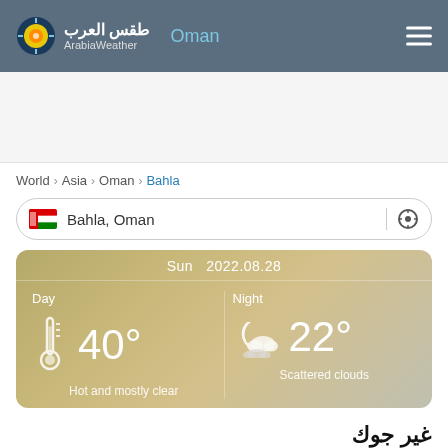طقس العرب ArabiaWeather — Oman
World > Asia > Oman > Bahla
Bahla, Oman
[Figure (infographic): Weather card showing Sun 2022.08.28. Day: thermometer icon, 40°, Hot and mostly clear. Night: scattered clouds icon, 22°, Scattered clouds.]
غير جوك